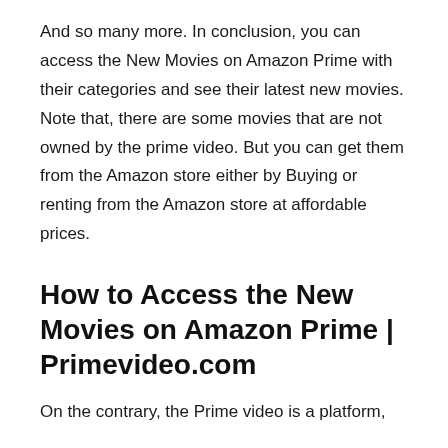And so many more. In conclusion, you can access the New Movies on Amazon Prime with their categories and see their latest new movies. Note that, there are some movies that are not owned by the prime video. But you can get them from the Amazon store either by Buying or renting from the Amazon store at affordable prices.
How to Access the New Movies on Amazon Prime | Primevideo.com
On the contrary, the Prime video is a platform,